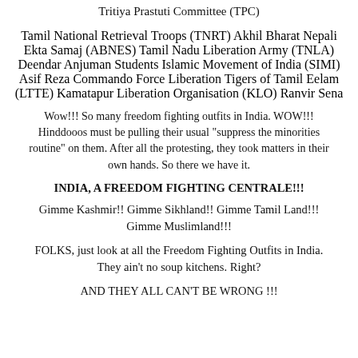Tritiya Prastuti Committee (TPC)
Tamil National Retrieval Troops (TNRT)
Akhil Bharat Nepali Ekta Samaj (ABNES)
Tamil Nadu Liberation Army (TNLA)
Deendar Anjuman
Students Islamic Movement of India (SIMI)
Asif Reza Commando Force
Liberation Tigers of Tamil Eelam (LTTE)
Kamatapur Liberation Organisation (KLO)
Ranvir Sena
Wow!!! So many freedom fighting outfits in India. WOW!!! Hinddooos must be pulling their usual "suppress the minorities routine" on them. After all the protesting, they took matters in their own hands. So there we have it.
INDIA, A FREEDOM FIGHTING CENTRALE!!!
Gimme Kashmir!! Gimme Sikhland!! Gimme Tamil Land!!! Gimme Muslimland!!!
FOLKS, just look at all the Freedom Fighting Outfits in India. They ain't no soup kitchens. Right?
AND THEY ALL CAN'T BE WRONG !!!